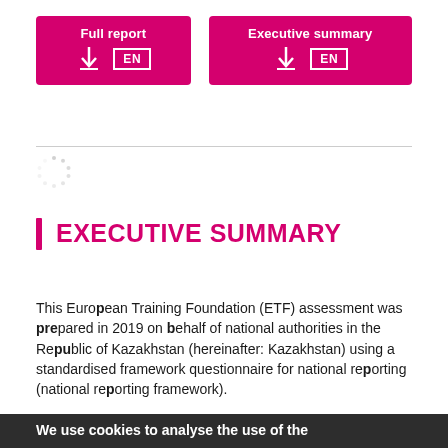[Figure (infographic): Two pink download buttons: 'Full report' with download arrow and EN language box, and 'Executive summary' with download arrow and EN language box]
[Figure (logo): EU circular dotted logo / loading spinner placeholder]
EXECUTIVE SUMMARY
This European Training Foundation (ETF) assessment was prepared in 2019 on behalf of national authorities in the Republic of Kazakhstan (hereinafter: Kazakhstan) using a standardised framework questionnaire for national reporting (national reporting framework).
We use cookies to analyse the use of the